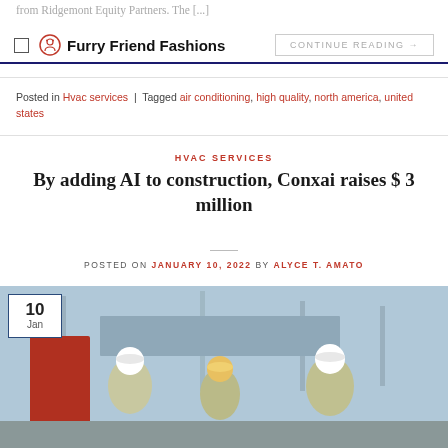from Ridgemont Equity Partners. The [...]
Furry Friend Fashions
CONTINUE READING →
Posted in Hvac services | Tagged air conditioning, high quality, north america, united states
HVAC SERVICES
By adding AI to construction, Conxai raises $ 3 million
POSTED ON JANUARY 10, 2022 BY ALYCE T. AMATO
[Figure (photo): Construction workers in white hard hats and yellow safety vests at a construction site, with a date badge showing 10 Jan in top left corner]